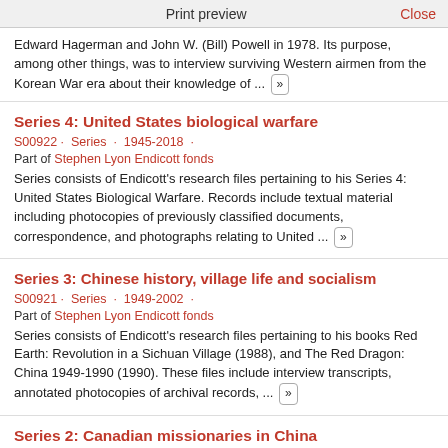Print preview   Close
Edward Hagerman and John W. (Bill) Powell in 1978. Its purpose, among other things, was to interview surviving Western airmen from the Korean War era about their knowledge of ... »
Series 4: United States biological warfare
S00922 · Series · 1945-2018 ·
Part of Stephen Lyon Endicott fonds
Series consists of Endicott's research files pertaining to his Series 4: United States Biological Warfare. Records include textual material including photocopies of previously classified documents, correspondence, and photographs relating to United ... »
Series 3: Chinese history, village life and socialism
S00921 · Series · 1949-2002 ·
Part of Stephen Lyon Endicott fonds
Series consists of Endicott's research files pertaining to his books Red Earth: Revolution in a Sichuan Village (1988), and The Red Dragon: China 1949-1990 (1990). These files include interview transcripts, annotated photocopies of archival records, ... »
Series 2: Canadian missionaries in China